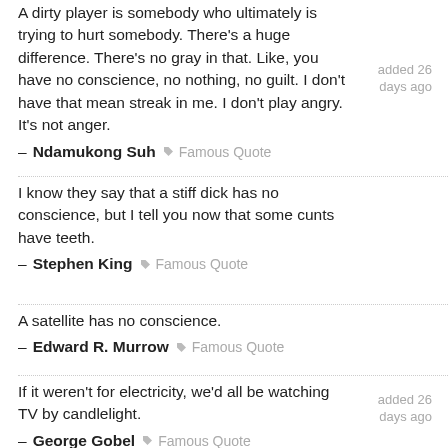A dirty player is somebody who ultimately is trying to hurt somebody. There’s a huge difference. There’s no gray in that. Like, you have no conscience, no nothing, no guilt. I don’t have that mean streak in me. I don’t play angry. It’s not anger.
– Ndamukong Suh ♢ Famous Quote
I know they say that a stiff dick has no conscience, but I tell you now that some cunts have teeth.
– Stephen King ♢ Famous Quote
A satellite has no conscience.
– Edward R. Murrow ♢ Famous Quote
If it weren’t for electricity, we’d all be watching TV by candlelight.
– George Gobel ♢ Famous Quote